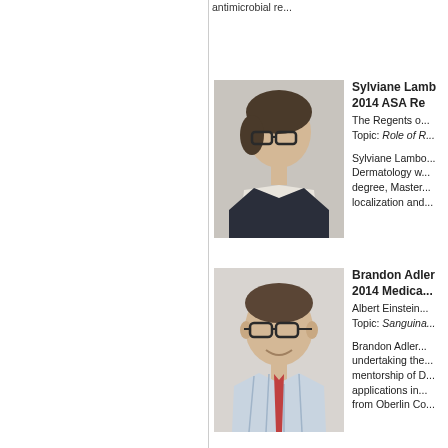antimicrobial re...
[Figure (photo): Headshot photo of Sylviane Lamb, a woman with short brown hair wearing glasses and a dark jacket over a white collared shirt]
Sylviane Lamb
2014 ASA Re...
The Regents o...
Topic: Role of R...
Sylviane Lamb... Dermatology w... degree, Master... localization and...
[Figure (photo): Headshot photo of Brandon Adler, a young man with short brown hair wearing glasses, a striped shirt, and a red tie, smiling]
Brandon Adler
2014 Medica...
Albert Einstein...
Topic: Sanguina...
Brandon Adler... undertaking the... mentorship of D... applications in... from Oberlin Co...